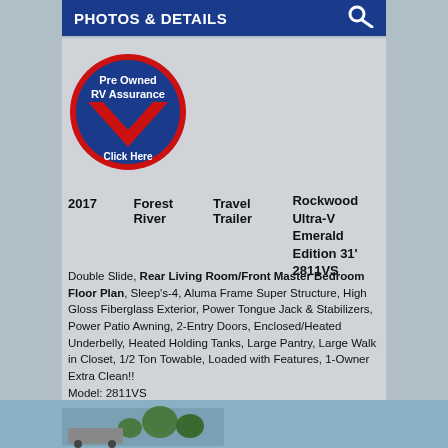PHOTOS & DETAILS
[Figure (logo): Pre Owned RV Assurance badge - circular blue badge with red chevron/checkmark and text 'Pre Owned RV Assurance Click Here']
| Year | Make | Type | Model |
| --- | --- | --- | --- |
| 2017 | Forest River | Travel Trailer | Rockwood Ultra-V Emerald Edition 31' 2811VS |
Double Slide, Rear Living Room/Front Master Bedroom Floor Plan, Sleep's-4, Aluma Frame Super Structure, High Gloss Fiberglass Exterior, Power Tongue Jack & Stabilizers, Power Patio Awning, 2-Entry Doors, Enclosed/Heated Underbelly, Heated Holding Tanks, Large Pantry, Large Walk in Closet, 1/2 Ton Towable, Loaded with Features, 1-Owner Extra Clean!! Model: 2811VS
By: Forest River  Sale Price $27,500.00*
In Stock- Only $222.00 Per Month**
[Figure (photo): Partial view of RV/travel trailer in outdoor wooded setting, bottom strip image]